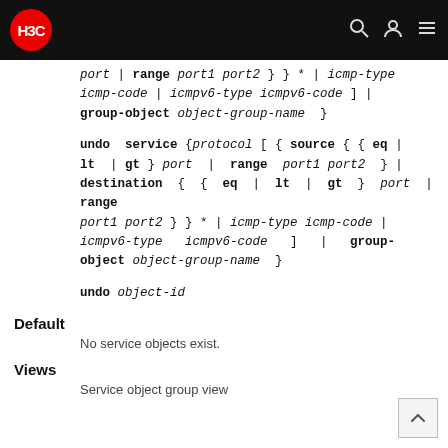[Figure (logo): H3C logo - red circle with H3C text in white, in a black navigation header bar with search and user icons]
port | range port1 port2 } } * | icmp-type icmp-code | icmpv6-type icmpv6-code ] | group-object object-group-name }
undo service { protocol [ { source { { eq | lt | gt } port | range port1 port2 } | destination { { eq | lt | gt } port | range port1 port2 } } * | icmp-type icmp-code | icmpv6-type icmpv6-code ] | group-object object-group-name }
undo object-id
Default
No service objects exist.
Views
Service object group view